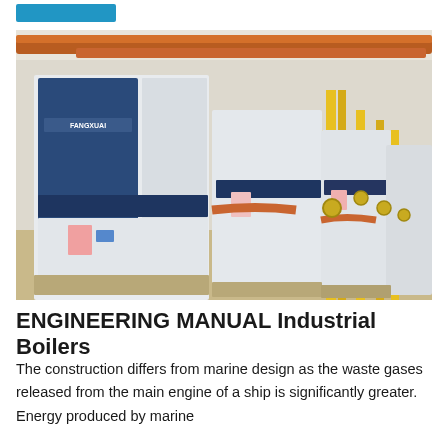[Figure (photo): Industrial boiler room showing multiple large blue and white FANGXUAI branded boilers in a row, connected by orange and yellow pipes overhead and on the sides, in an industrial facility with concrete flooring.]
ENGINEERING MANUAL Industrial Boilers
The construction differs from marine design as the waste gases released from the main engine of a ship is significantly greater. Energy produced by marine